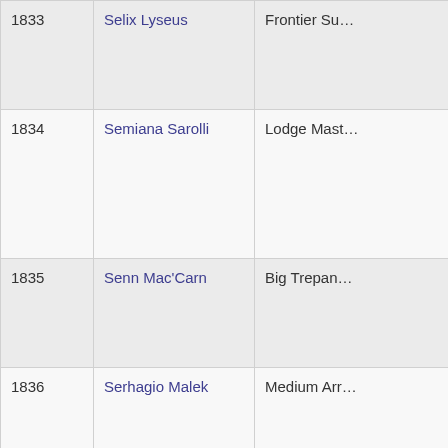| # | Name | Title |
| --- | --- | --- |
| 1833 | Selix Lyseus | Frontier Su… |
| 1834 | Semiana Sarolli | Lodge Mast… |
| 1835 | Senn Mac'Carn | Big Trepan… |
| 1836 | Serhagio Malek | Medium Arr… |
| 1837 | Shadow Runners Kami Ambassador | Shadow Ru… |